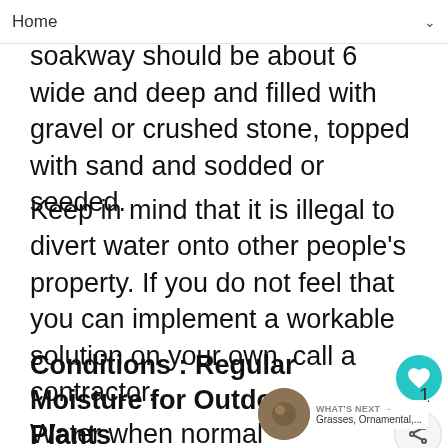Home
we soakway should be about 6 wide and deep and filled with gravel or crushed stone, topped with sand and sodded or seeded.
Keep in mind that it is illegal to divert water onto other people's property. If you do not feel that you can implement a workable solution on your own, call a contractor.
Conditions : Regular Moisture for Outdoor Plants
Water when normal rainfall does not provide the preferred 1 inch of moisture most plants prefer. Average water is needed during the growing season, but take care not to